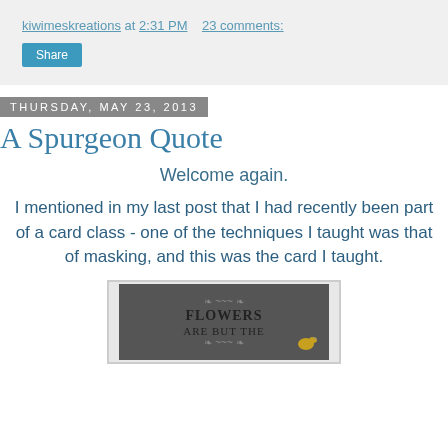kiwimeskreations at 2:31 PM   23 comments:
Share
Thursday, May 23, 2013
A Spurgeon Quote
Welcome again.
I mentioned in my last post that I had recently been part of a card class - one of the techniques I taught was that of masking, and this was the card I taught.
[Figure (photo): A handmade card showing the text FLOWERS ARE BUT THE with decorative flourishes and a bird illustration on a dark background with a white border frame.]